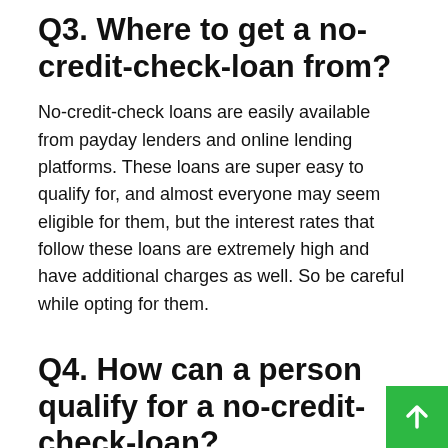Q3. Where to get a no-credit-check-loan from?
No-credit-check loans are easily available from payday lenders and online lending platforms. These loans are super easy to qualify for, and almost everyone may seem eligible for them, but the interest rates that follow these loans are extremely high and have additional charges as well. So be careful while opting for them.
Q4. How can a person qualify for a no-credit-check-loan?
Generally, the sources who offer no-credit-check-loans run a background check when you apply for a loan. They check your monthly income, debt record, and level, plus your employment stability. Therefore, you must have stable employment with a low debt level as compared to your income level. Lenders get hold of such information via references, bank accounts, and pay